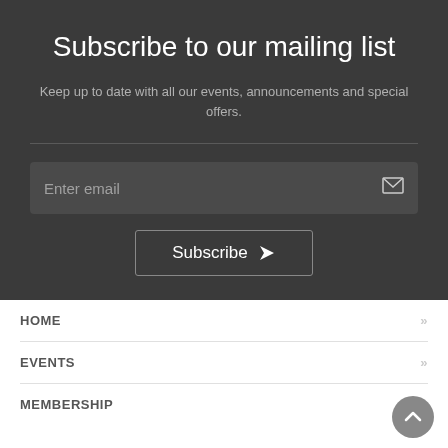Subscribe to our mailing list
Keep up to date with all our events, announcements and special offers.
Enter email
Subscribe
HOME
EVENTS
MEMBERSHIP